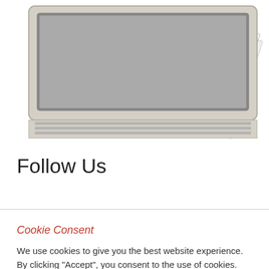[Figure (illustration): Illustration of a laptop computer with a document/paper overlay showing lined paper with red cursive text 'Connection']
Follow Us
Cookie Consent
We use cookies to give you the best website experience. By clicking "Accept", you consent to the use of cookies. Manage cookies here Read More
Cookie settings  ACCEPT